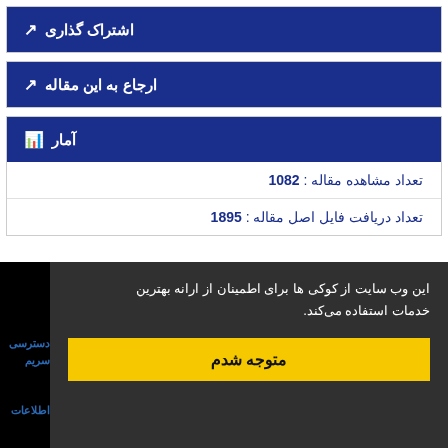اشتراک گذاری
ارجاع به این مقاله
آمار
تعداد مشاهده مقاله: 1082
تعداد دریافت فایل اصل مقاله: 1895
این وب سایت از کوکی ها برای اطمینان از ارانه بهترین خدمات استفاده می‌کند.
متوجه شدم